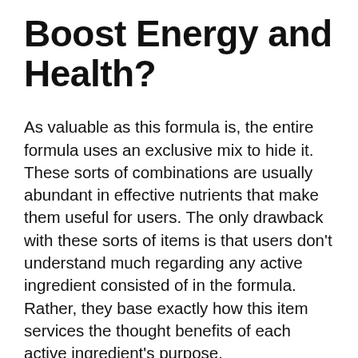Boost Energy and Health?
As valuable as this formula is, the entire formula uses an exclusive mix to hide it. These sorts of combinations are usually abundant in effective nutrients that make them useful for users. The only drawback with these sorts of items is that users don’t understand much regarding any active ingredient consisted of in the formula. Rather, they base exactly how this item services the thought benefits of each active ingredient’s purpose.
Java Burn has natural active ingredients that deal with your coffee and also aid provide